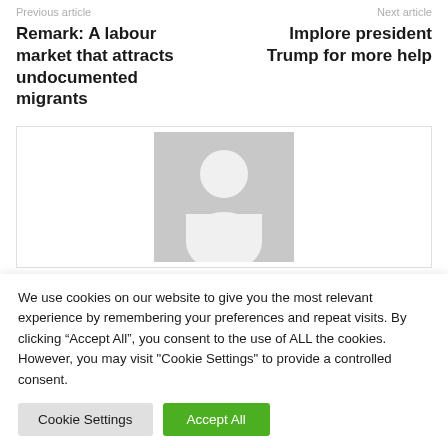Previous article | Next article
Remark: A labour market that attracts undocumented migrants
Implore president Trump for more help
[Figure (illustration): Generic user/avatar placeholder image: grey background with white silhouette of a person (head circle and body shape)]
We use cookies on our website to give you the most relevant experience by remembering your preferences and repeat visits. By clicking “Accept All”, you consent to the use of ALL the cookies. However, you may visit "Cookie Settings" to provide a controlled consent.